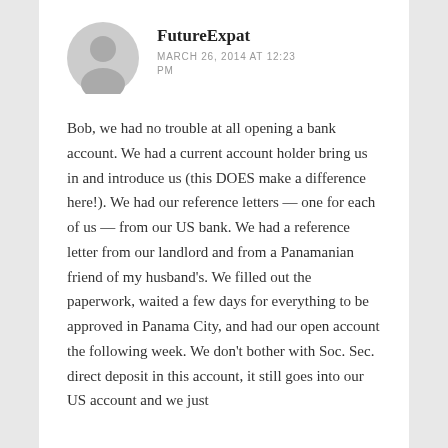FutureExpat
MARCH 26, 2014 AT 12:23 PM
Bob, we had no trouble at all opening a bank account. We had a current account holder bring us in and introduce us (this DOES make a difference here!). We had our reference letters — one for each of us — from our US bank. We had a reference letter from our landlord and from a Panamanian friend of my husband's. We filled out the paperwork, waited a few days for everything to be approved in Panama City, and had our open account the following week. We don't bother with Soc. Sec. direct deposit in this account, it still goes into our US account and we just